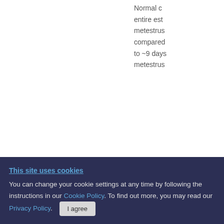Normal c entire est metestrus compared to ~9 days metestrus
[Figure (other): Partial scientific figure showing estrous cycle stages including Oestrus, Metoestrus, Dioestrus, Prooestrus rows with tick marks across multiple panels]
This site uses cookies
You can change your cookie settings at any time by following the instructions in our Cookie Policy. To find out more, you may read our Privacy Policy.
I agree